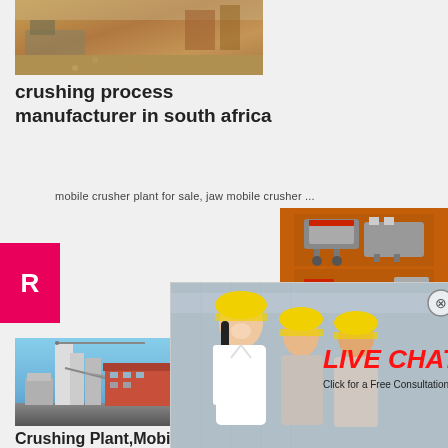[Figure (photo): Construction site photo with sand/earth and machinery in background]
crushing process manufacturer in south africa
mobile crusher plant for sale, jaw mobile crusher ...
[Figure (photo): Live chat popup with workers wearing yellow hard hats, red LIVE CHAT text, Chat now and Chat later buttons]
[Figure (photo): Right sidebar with orange background showing crushing/mining machine images, Enjoy 3% discount, Click to Chat, Enquiry, limingjlmofen@sina.com]
[Figure (photo): Industrial crushing/cement plant facility photo]
Crushing Plant,Mobile Impact